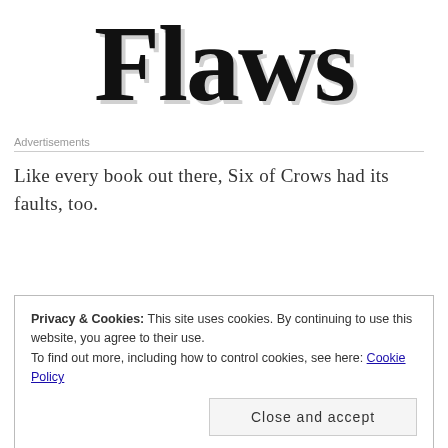Flaws
Advertisements
Like every book out there, Six of Crows had its faults, too.
Privacy & Cookies: This site uses cookies. By continuing to use this website, you agree to their use.
To find out more, including how to control cookies, see here: Cookie Policy
Close and accept
—The worldbuilding was not enough: I am still